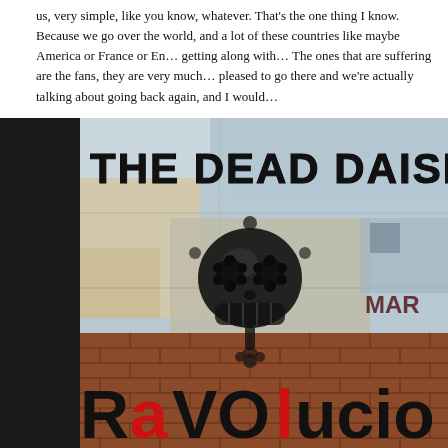us, very simple, like you know, whatever. That's the one thing I know. Because we go over the world, and a lot of these countries like maybe America or France or En… getting along with… The ones that are suffering are the fans, they are very much… pleased to go there and we're actually talking about going back again, and I would…
[Figure (photo): Street art / album artwork photo showing a weathered wall with graffiti. Text 'THE DEAD DAISIES' painted in large black stencil letters at the top. A black flower skull stencil in the center. Text 'MARC' partially visible on the right side. At the bottom, 'RaVOLUCIO' text in large black and red letters on brick wall.]